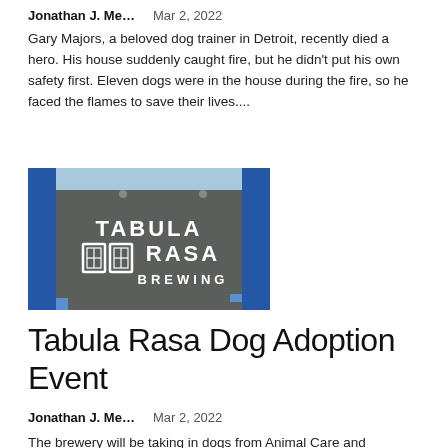Jonathan J. Me…    Mar 2, 2022
Gary Majors, a beloved dog trainer in Detroit, recently died a hero. His house suddenly caught fire, but he didn't put his own safety first. Eleven dogs were in the house during the fire, so he faced the flames to save their lives....
[Figure (photo): Exterior wall of Tabula Rasa Brewing with white text logo on grey and blue building facade]
Tabula Rasa Dog Adoption Event
Jonathan J. Me…    Mar 2, 2022
The brewery will be taking in dogs from Animal Care and